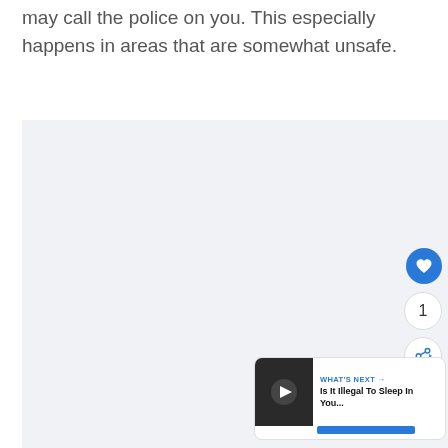may call the police on you. This especially happens in areas that are somewhat unsafe.
[Figure (photo): Large light gray/blue image placeholder box, mostly empty background area of an article page with social interaction buttons (heart/like, count '1', share) on the right side and a 'What's Next' card in the bottom right corner.]